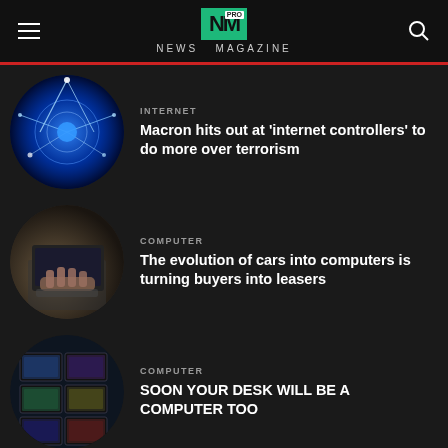NEWS MAGAZINE
INTERNET
Macron hits out at ‘internet controllers’ to do more over terrorism
[Figure (photo): Circular image of glowing blue network globe with light streaks]
COMPUTER
The evolution of cars into computers is turning buyers into leasers
[Figure (photo): Circular image of person typing on a laptop keyboard]
COMPUTER
SOON YOUR DESK WILL BE A COMPUTER TOO
[Figure (photo): Circular image of multiple computer monitors arranged in a grid]